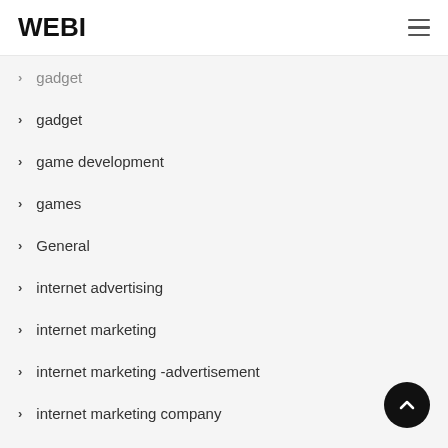WEBI
gadget
gadget
game development
games
General
internet advertising
internet marketing
internet marketing -advertisement
internet marketing company
kitchen gadgets
laptop